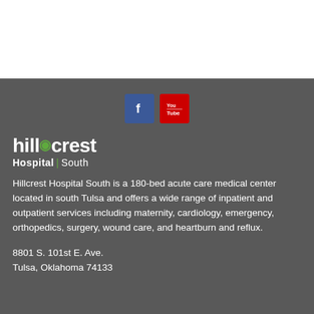[Figure (logo): Hillcrest Hospital South logo with green leaf accent, white text on dark grey background]
Hillcrest Hospital South is a 180-bed acute care medical center located in south Tulsa and offers a wide range of inpatient and outpatient services including maternity, cardiology, emergency, orthopedics, surgery, wound care, and heartburn and reflux.
8801 S. 101st E. Ave.
Tulsa, Oklahoma 74133